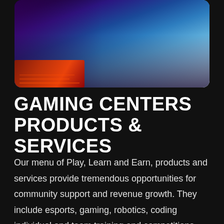[Figure (photo): A person in a blue hoodie making a heart shape with their hands in front of a gaming PC setup with a lit keyboard, bathed in blue and purple neon lighting.]
GAMING CENTERS PRODUCTS & SERVICES
Our menu of Play, Learn and Earn, products and services provide tremendous opportunities for community support and revenue growth. They include esports, gaming, robotics, coding individual and team training and competitions. STEM/STEAM education and career counseling and mentoring. Parties, events, merchandise